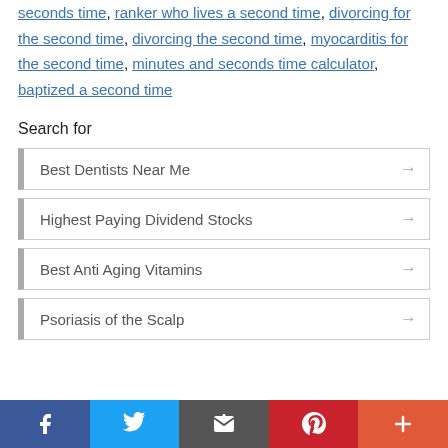seconds time, ranker who lives a second time, divorcing for the second time, divorcing the second time, myocarditis for the second time, minutes and seconds time calculator, baptized a second time
Search for
Best Dentists Near Me
Highest Paying Dividend Stocks
Best Anti Aging Vitamins
Psoriasis of the Scalp
Social share bar: Facebook, Twitter, Email, Pinterest, More